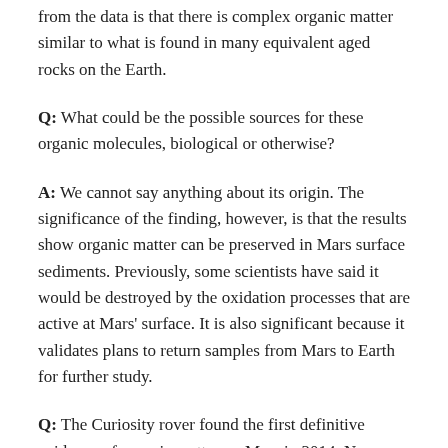from the data is that there is complex organic matter similar to what is found in many equivalent aged rocks on the Earth.
Q: What could be the possible sources for these organic molecules, biological or otherwise?
A: We cannot say anything about its origin. The significance of the finding, however, is that the results show organic matter can be preserved in Mars surface sediments. Previously, some scientists have said it would be destroyed by the oxidation processes that are active at Mars' surface. It is also significant because it validates plans to return samples from Mars to Earth for further study.
Q: The Curiosity rover found the first definitive evidence of organic matter on Mars in 2014. Now with